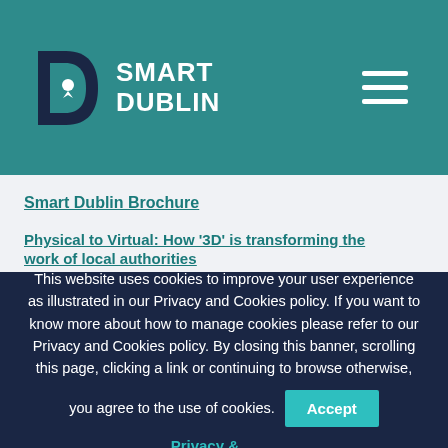Smart Dublin
Smart Dublin Brochure
Physical to Virtual: How '3D' is transforming the work of local authorities
This website uses cookies to improve your user experience as illustrated in our Privacy and Cookies policy. If you want to know more about how to manage cookies please refer to our Privacy and Cookies policy. By closing this banner, scrolling this page, clicking a link or continuing to browse otherwise, you agree to the use of cookies.
Accept | Privacy & Cookies Policy